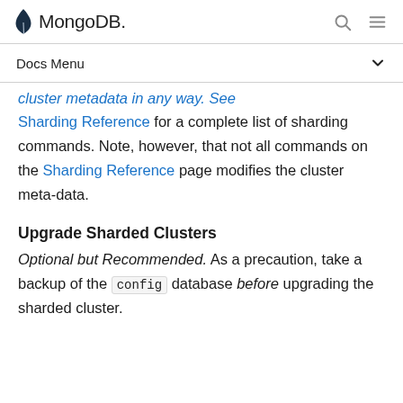MongoDB
Docs Menu
cluster metadata in any way. See Sharding Reference for a complete list of sharding commands. Note, however, that not all commands on the Sharding Reference page modifies the cluster meta-data.
Upgrade Sharded Clusters
Optional but Recommended. As a precaution, take a backup of the config database before upgrading the sharded cluster.